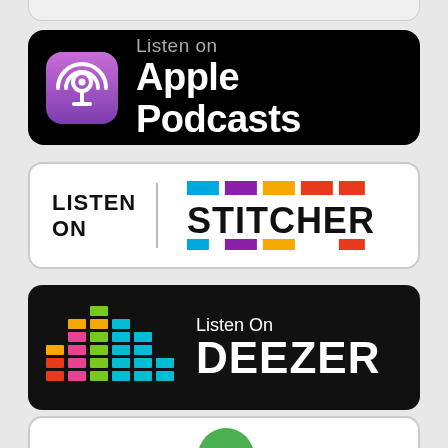[Figure (logo): Apple Podcasts badge: black rounded rectangle with purple podcast icon and text 'Listen on Apple Podcasts' in white]
[Figure (logo): Stitcher badge: white rounded rectangle with 'LISTEN ON' text, vertical divider, and colorful STITCHER logo with multi-colored rectangular blocks]
[Figure (logo): Deezer badge: black rounded rectangle with colorful equalizer bars graphic and text 'Listen On DEEZER' in white]
[Figure (logo): Partial bottom badge: white rounded rectangle partially visible at bottom of page]